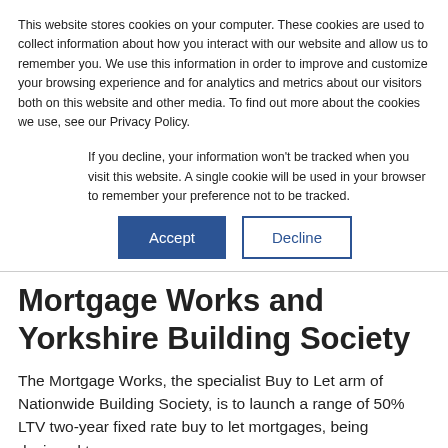This website stores cookies on your computer. These cookies are used to collect information about how you interact with our website and allow us to remember you. We use this information in order to improve and customize your browsing experience and for analytics and metrics about our visitors both on this website and other media. To find out more about the cookies we use, see our Privacy Policy.
If you decline, your information won't be tracked when you visit this website. A single cookie will be used in your browser to remember your preference not to be tracked.
[Figure (other): Two buttons: Accept (filled dark blue) and Decline (outlined dark blue)]
Mortgage Works and Yorkshire Building Society
The Mortgage Works, the specialist Buy to Let arm of Nationwide Building Society, is to launch a range of 50% LTV two-year fixed rate buy to let mortgages, being designed to...